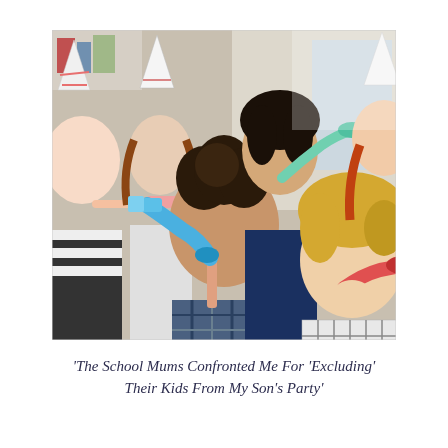[Figure (photo): Five children blowing party horns/noisemakers at a birthday party. The children are wearing party hats and holding colorful party blowers (blue, red, striped). They are close to the camera, smiling and blowing. Background shows a room interior.]
'The School Mums Confronted Me For 'Excluding' Their Kids From My Son's Party'